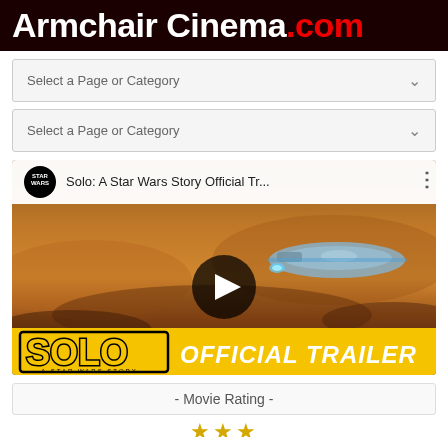Armchair Cinema.com
Select a Page or Category
Select a Page or Category
[Figure (screenshot): YouTube video thumbnail for 'Solo: A Star Wars Story Official Tr...' showing the Millennium Falcon flying over desert clouds, with SOLO OFFICIAL TRAILER banner at the bottom]
- Movie Rating -
[Figure (other): Star rating icons (partial, cut off at bottom)]